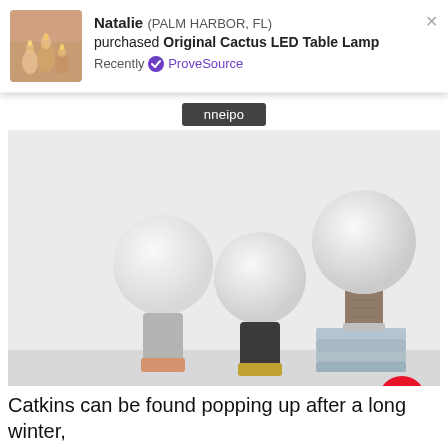[Figure (screenshot): ProveSource social proof popup notification showing Natalie from Palm Harbor, FL purchased Original Cactus LED Table Lamp, with a thumbnail photo of candles/warm lights, Recently badge with ProveSource logo, and close X button]
[Figure (photo): Product photo of three minimalist LED table lamps with round frosted globe bulbs on cylindrical bases (one gray/rose-gold, one gray/black/gold, one wood/chrome) arranged on a light surface, with the third lamp placed on a stack of light blue books]
Catkins can be found popping up after a long winter,